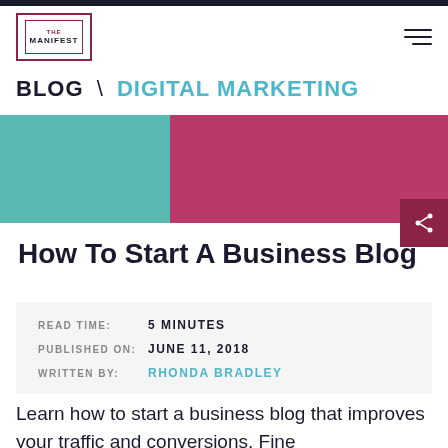THE MANIFEST
BLOG \ DIGITAL MARKETING
[Figure (photo): Hero image split: left half teal/green background, right half dark pink/crimson background, blurred content]
How To Start A Business Blog
READ TIME: 5 MINUTES
PUBLISHED ON: JUNE 11, 2018
WRITTEN BY: RHONDA BRADLEY
Learn how to start a business blog that improves your traffic and conversions. Fine